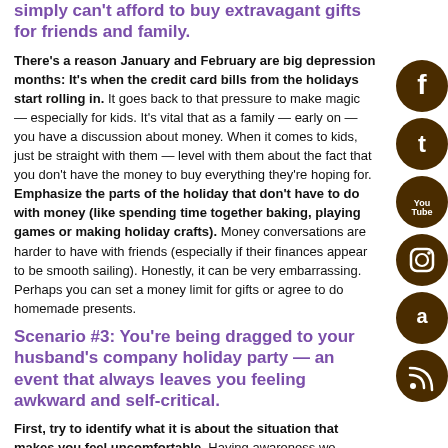simply can't afford to buy extravagant gifts for friends and family.
There's a reason January and February are big depression months: It's when the credit card bills from the holidays start rolling in. It goes back to that pressure to make magic — especially for kids. It's vital that as a family — early on — you have a discussion about money. When it comes to kids, just be straight with them — level with them about the fact that you don't have the money to buy everything they're hoping for. Emphasize the parts of the holiday that don't have to do with money (like spending time together baking, playing games or making holiday crafts). Money conversations are harder to have with friends (especially if their finances appear to be smooth sailing). Honestly, it can be very embarrassing. Perhaps you can set a money limit for gifts or agree to do homemade presents.
Scenario #3: You're being dragged to your husband's company holiday party — an event that always leaves you feeling awkward and self-critical.
First, try to identify what it is about the situation that makes you feel uncomfortable. Having awareness wo...